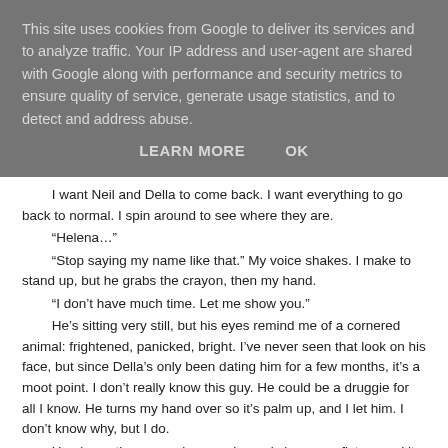This site uses cookies from Google to deliver its services and to analyze traffic. Your IP address and user-agent are shared with Google along with performance and security metrics to ensure quality of service, generate usage statistics, and to detect and address abuse.
LEARN MORE    OK
I want Neil and Della to come back. I want everything to go back to normal. I spin around to see where they are.
“Helena…”
“Stop saying my name like that.” My voice shakes. I make to stand up, but he grabs the crayon, then my hand.
“I don’t have much time. Let me show you.”
He’s sitting very still, but his eyes remind me of a cornered animal: frightened, panicked, bright. I’ve never seen that look on his face, but since Della’s only been dating him for a few months, it’s a moot point. I don’t really know this guy. He could be a druggie for all I know. He turns my hand over so it’s palm up, and I let him. I don’t know why, but I do.
He places the crayon in my palm and closes my fist around it.
“You have to say it out loud,” he says. “Show me, Kit.”
“Say it, Helena. Please. I’m afraid of what will happen if you don’t.”
Because he looks so afraid, I say it.